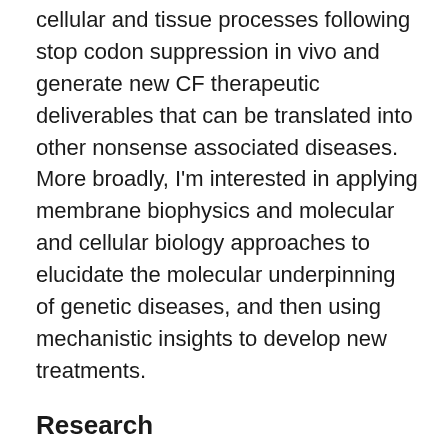cellular and tissue processes following stop codon suppression in vivo and generate new CF therapeutic deliverables that can be translated into other nonsense associated diseases. More broadly, I'm interested in applying membrane biophysics and molecular and cellular biology approaches to elucidate the molecular underpinning of genetic diseases, and then using mechanistic insights to develop new treatments.
Research
My research focuses on the molecular genetics and experimental treatment of diseases resulting from nonsense mutations. I am investigating the use of engineered tRNAs for suppression of nonsense mutations in cystic fibrosis transmembrane conductance regulator (CFTR) transcripts as therapeutic intervention for cystic fibrosis.